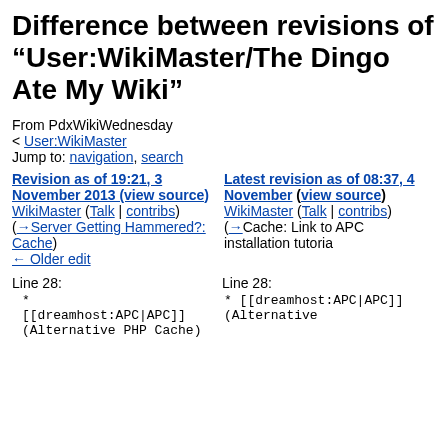Difference between revisions of "User:WikiMaster/The Dingo Ate My Wiki"
From PdxWikiWednesday
< User:WikiMaster
Jump to: navigation, search
| Left revision | Right revision |
| --- | --- |
| Revision as of 19:21, 3 November 2013 (view source)
WikiMaster (Talk | contribs)
(→Server Getting Hammered?: Cache)
← Older edit | Latest revision as of 08:37, 4 November (view source)
WikiMaster (Talk | contribs)
(→Cache: Link to APC installation tutoria |
Line 28:	Line 28:
* [[dreamhost:APC|APC]] (Alternative PHP Cache)
* [[dreamhost:APC|APC]] (Alternative